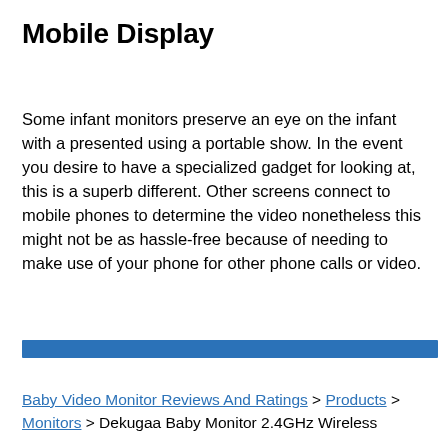Mobile Display
Some infant monitors preserve an eye on the infant with a presented using a portable show. In the event you desire to have a specialized gadget for looking at, this is a superb different. Other screens connect to mobile phones to determine the video nonetheless this might not be as hassle-free because of needing to make use of your phone for other phone calls or video.
[Figure (other): Blue horizontal decorative bar divider]
Baby Video Monitor Reviews And Ratings > Products > Monitors > Dekugaa Baby Monitor 2.4GHz Wireless